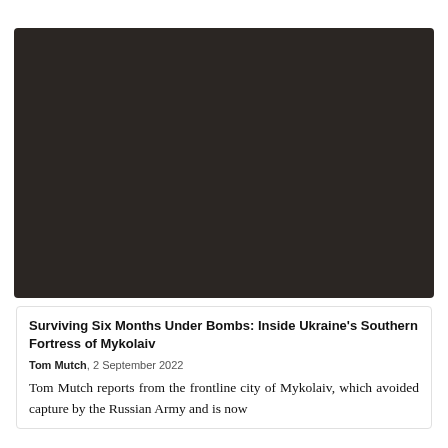[Figure (photo): A dark, nearly black photograph — appears to be a nighttime or very low-light image, showing little to no visible detail.]
Surviving Six Months Under Bombs: Inside Ukraine's Southern Fortress of Mykolaiv
Tom Mutch, 2 September 2022
Tom Mutch reports from the frontline city of Mykolaiv, which avoided capture by the Russian Army and is now